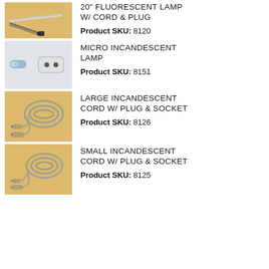[Figure (photo): Photo of a 20-inch fluorescent lamp with cord and plug on a yellow/orange background]
20" FLUORESCENT LAMP W/ CORD & PLUG
Product SKU: 8120
[Figure (photo): Photo of a micro incandescent lamp components on a light background]
MICRO INCANDESCENT LAMP
Product SKU: 8151
[Figure (photo): Photo of a large incandescent cord with plug and socket on a yellow/orange background]
LARGE INCANDESCENT CORD W/ PLUG & SOCKET
Product SKU: 8126
[Figure (photo): Photo of a small incandescent cord with plug and socket on a yellow/orange background]
SMALL INCANDESCENT CORD W/ PLUG & SOCKET
Product SKU: 8125